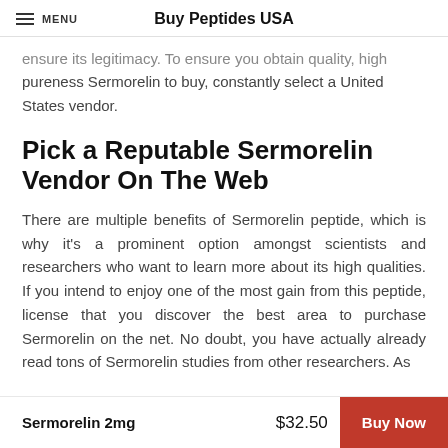Buy Peptides USA
ensure its legitimacy. To ensure you obtain quality, high pureness Sermorelin to buy, constantly select a United States vendor.
Pick a Reputable Sermorelin Vendor On The Web
There are multiple benefits of Sermorelin peptide, which is why it's a prominent option amongst scientists and researchers who want to learn more about its high qualities. If you intend to enjoy one of the most gain from this peptide, license that you discover the best area to purchase Sermorelin on the net. No doubt, you have actually already read tons of Sermorelin studies from other researchers. As
Sermorelin 2mg   $32.50   Buy Now